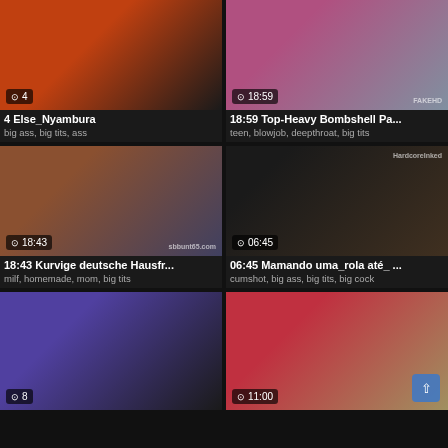[Figure (screenshot): Video thumbnail grid item 1 - duration 4]
4 Else_Nyambura
big ass, big tits, ass
[Figure (screenshot): Video thumbnail grid item 2 - duration 18:59]
18:59 Top-Heavy Bombshell Pa...
teen, blowjob, deepthroat, big tits
[Figure (screenshot): Video thumbnail grid item 3 - duration 18:43]
18:43 Kurvige deutsche Hausfr...
milf, homemade, mom, big tits
[Figure (screenshot): Video thumbnail grid item 4 - duration 06:45]
06:45 Mamando uma_rola até_ ...
cumshot, big ass, big tits, big cock
[Figure (screenshot): Video thumbnail grid item 5 - duration 8]
[Figure (screenshot): Video thumbnail grid item 6 - duration 11:00]